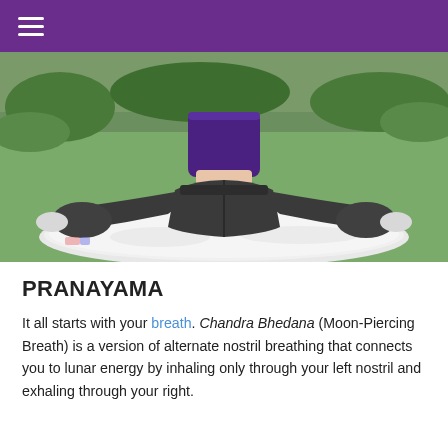≡
[Figure (photo): Close-up back view of a woman in a yoga pose (possibly child's pose or frog pose) outdoors on a white fluffy mat on grass. She is wearing a dark purple crop top and dark grey/black yoga pants.]
PRANAYAMA
It all starts with your breath. Chandra Bhedana (Moon-Piercing Breath) is a version of alternate nostril breathing that connects you to lunar energy by inhaling only through your left nostril and exhaling through your right.